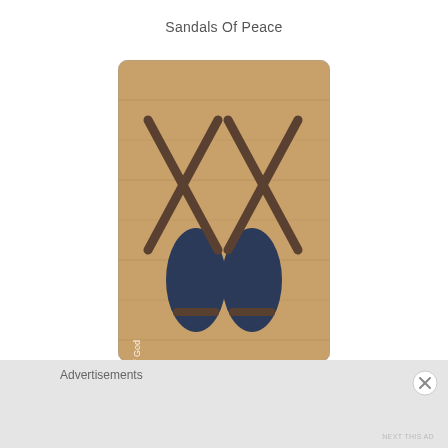Sandals Of Peace
[Figure (photo): Two dark navy blue sandals with crossed brown leather straps laid flat on a wooden surface. White vertical text on the left side reads 'Crafting The Word Of God'. The photo has rounded corners.]
Advertisements
NEXT THIS AD